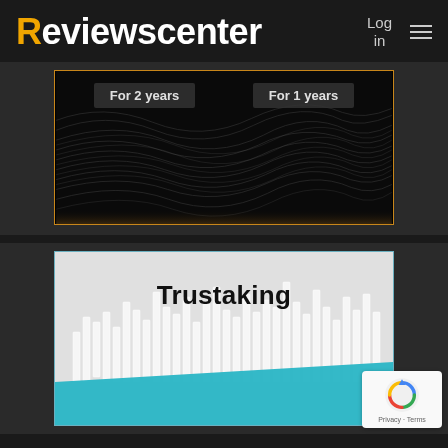Reviewscenter  Log in  ≡
[Figure (screenshot): Dark banner with wave pattern background and two buttons: 'For 2 years' and 'For 1 years'. Gold border around the banner.]
[Figure (screenshot): Trading platform banner showing 'Trustaking' title over a candlestick chart background with teal/cyan lower section.]
[Figure (logo): reCAPTCHA badge with Privacy and Terms links]